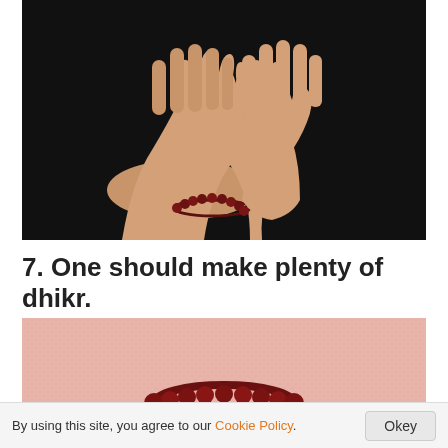[Figure (photo): Two open hands raised upward in a prayer/supplication pose against a dark black background, with a dark red/maroon prayer bead bracelet (misbaha/tasbih) visible at the wrist.]
7. One should make plenty of dhikr.
[Figure (photo): Partial view of a pink/salmon textured fabric or surface with dark red/maroon circular prayer beads (tasbih) visible along the bottom edge.]
By using this site, you agree to our Cookie Policy.
Okey